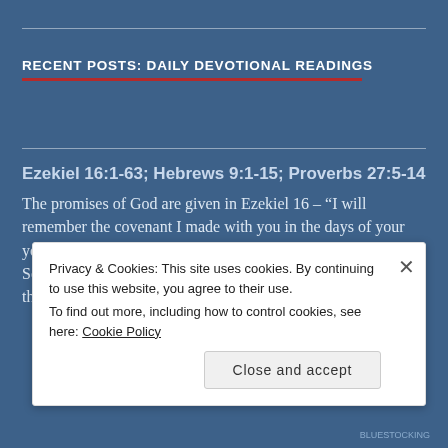RECENT POSTS: DAILY DEVOTIONAL READINGS
Ezekiel 16:1-63; Hebrews 9:1-15; Proverbs 27:5-14
The promises of God are given in Ezekiel 16 – “I will remember the covenant I made with you in the days of your youth, and I will establish an everlasting covenant with you… So I will establish My covenant with you, and you will know that I am the Lord” (Ezekiel 16:60,62). These promises [...]
Privacy & Cookies: This site uses cookies. By continuing to use this website, you agree to their use.
To find out more, including how to control cookies, see here: Cookie Policy
BLUESTOCKING